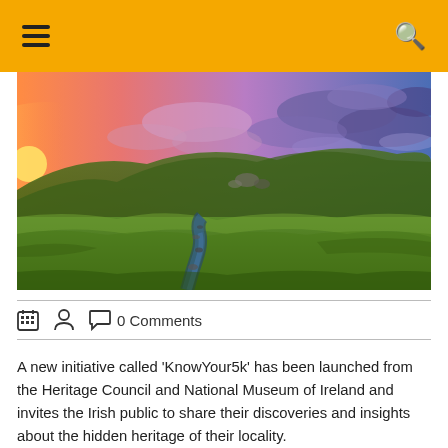☰  🔍
[Figure (photo): Scenic Irish landscape with a winding stream through green meadows, rolling hills in the background, and a dramatic sky blending warm orange sunset on the left with purple and blue clouds on the right.]
🗓  👤  💬 0 Comments
A new initiative called 'KnowYour5k' has been launched from the Heritage Council and National Museum of Ireland and invites the Irish public to share their discoveries and insights about the hidden heritage of their locality.